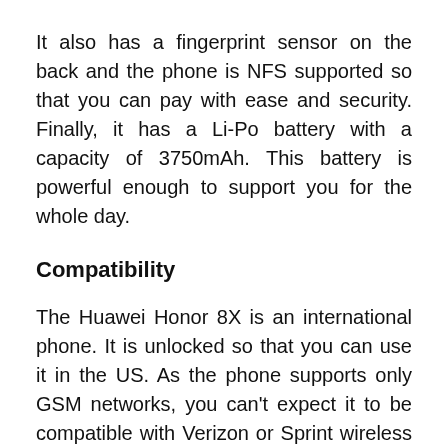It also has a fingerprint sensor on the back and the phone is NFS supported so that you can pay with ease and security. Finally, it has a Li-Po battery with a capacity of 3750mAh. This battery is powerful enough to support you for the whole day.
Compatibility
The Huawei Honor 8X is an international phone. It is unlocked so that you can use it in the US. As the phone supports only GSM networks, you can't expect it to be compatible with Verizon or Sprint wireless networks.
The only option is to use this phone on AT&T or T-Mobile network. The dual SIM support